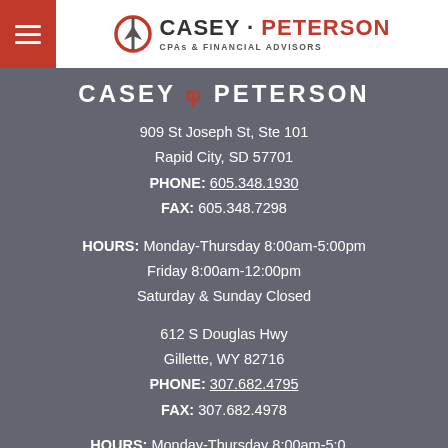[Figure (logo): Casey Peterson CPAs & Financial Advisors logo with hamburger menu icon]
CASEY φ PETERSON
909 St Joseph St, Ste 101
Rapid City, SD 57701
PHONE: 605.348.1930
FAX: 605.348.7298
HOURS: Monday-Thursday 8:00am-5:00pm
Friday 8:00am-12:00pm
Saturday & Sunday Closed
612 S Douglas Hwy
Gillette, WY 82716
PHONE: 307.682.4795
FAX: 307.682.4978
HOURS: Monday-Thursday 8:00am-5:00...